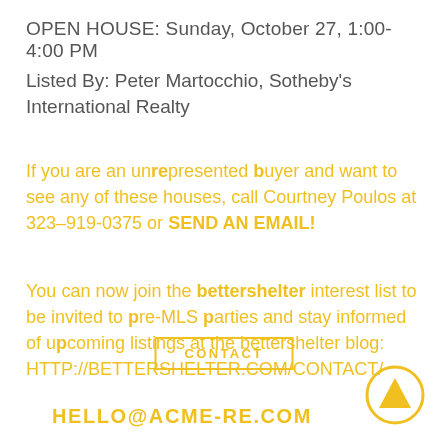OPEN HOUSE: Sunday, October 27, 1:00-4:00 PM
Listed By: Peter Martocchio, Sotheby's International Realty
If you are an unrepresented buyer and want to see any of these houses, call Courtney Poulos at 323-919-0375 or SEND AN EMAIL!
You can now join the bettershelter interest list to be invited to pre-MLS parties and stay informed of upcoming listings at the bettershelter blog: HTTP://BETTERSHELTER.COM/CONTACT/
CONTACT
HELLO@ACME-RE.COM
[Figure (illustration): Yellow circle with upward-pointing triangle arrow icon]